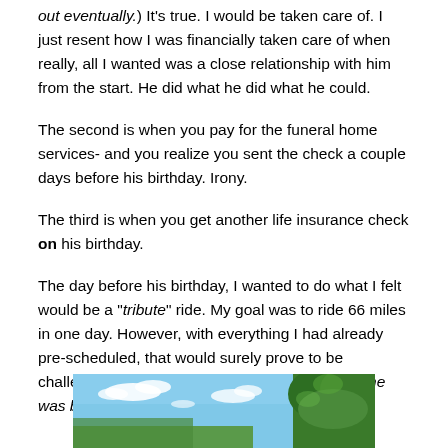out eventually.) It's true. I would be taken care of. I just resent how I was financially taken care of when really, all I wanted was a close relationship with him from the start. He did what he did what he could.
The second is when you pay for the funeral home services- and you realize you sent the check a couple days before his birthday. Irony.
The third is when you get another life insurance check on his birthday.
The day before his birthday, I wanted to do what I felt would be a "tribute" ride. My goal was to ride 66 miles in one day. However, with everything I had already pre-scheduled, that would surely prove to be challenging. So a second goal was 52 (the year he was born.)
[Figure (photo): Outdoor landscape photo showing a blue sky with white clouds and green trees on the right side.]